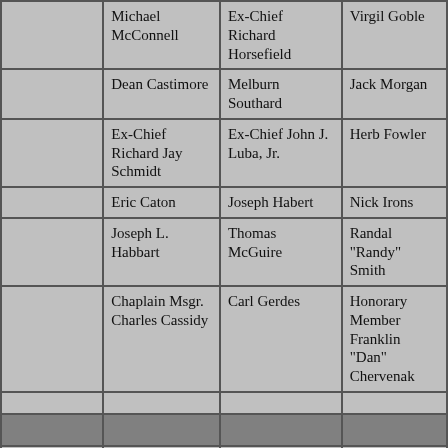|  | Michael McConnell | Ex-Chief Richard Horsefield | Virgil Goble |
|  | Dean Castimore | Melburn Southard | Jack Morgan |
|  | Ex-Chief Richard Jay Schmidt | Ex-Chief John J. Luba, Jr. | Herb Fowler |
|  | Eric Caton | Joseph Habert | Nick Irons |
|  | Joseph L. Habbart | Thomas McGuire | Randal "Randy" Smith |
|  | Chaplain Msgr. Charles Cassidy | Carl Gerdes | Honorary Member Franklin "Dan" Chervenak |
|  |  |  |  |
| [dark] | [dark] | [dark] | [dark] |
| Stanhope: | Clarence Peterson | Sam Meyerson | Charles Applegate |
|  | Paul Sickels | Tony Sonnesa | Bernard Repsher |
|  | Harold Rowen | Arnold Poyer | John Laskey |